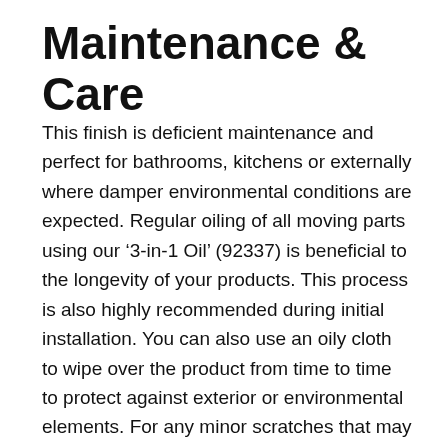Maintenance & Care
This finish is deficient maintenance and perfect for bathrooms, kitchens or externally where damper environmental conditions are expected. Regular oiling of all moving parts using our ‘3-in-1 Oil’ (92337) is beneficial to the longevity of your products. This process is also highly recommended during initial installation. You can also use an oily cloth to wipe over the product from time to time to protect against exterior or environmental elements. For any minor scratches that may occur with your product's general wear and tear, we offer a durable ‘Black Touch Up